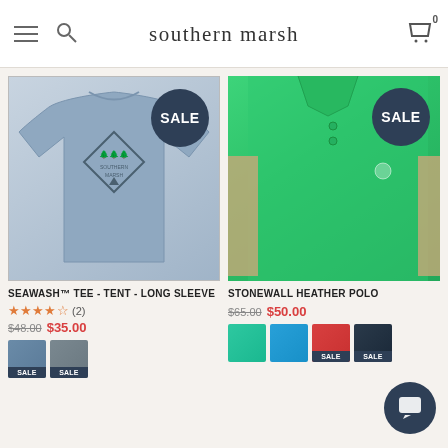southern marsh
[Figure (photo): Gray long sleeve Seawash tee shirt with Southern Marsh tent graphic on back, with SALE badge]
SEAWASH™ TEE - TENT - LONG SLEEVE
★★★★½ (2)
$48.00  $35.00
[Figure (photo): Man wearing green Stonewall Heather Polo shirt, with SALE badge]
STONEWALL HEATHER POLO
$65.00  $50.00